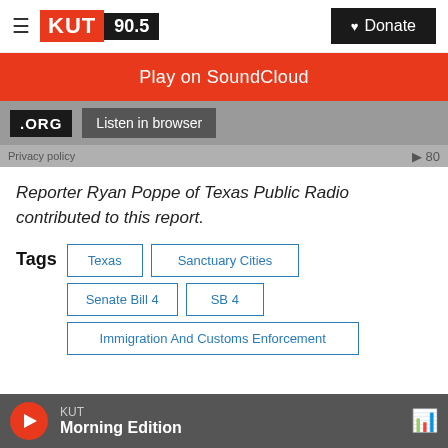KUT 90.5 | Donate
[Figure (screenshot): SoundCloud embedded player with orange Play on SoundCloud bar, .ORG badge and Listen in browser button, Privacy policy and 80 indicator]
Reporter Ryan Poppe of Texas Public Radio contributed to this report.
Tags  Texas  Sanctuary Cities  Senate Bill 4  SB 4  Immigration And Customs Enforcement
KUT Morning Edition (bottom player bar)